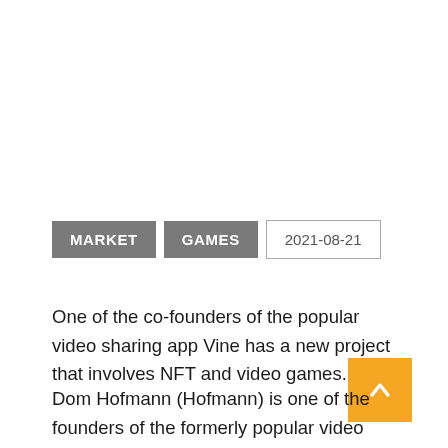MARKET
GAMES
2021-08-21
One of the co-founders of the popular video sharing app Vine has a new project that involves NFT and video games.
Dom Hofmann (Hofmann) is one of the founders of the formerly popular video sharing app Vine. He is also the creator of Vine's successor Peach and Byte apps.